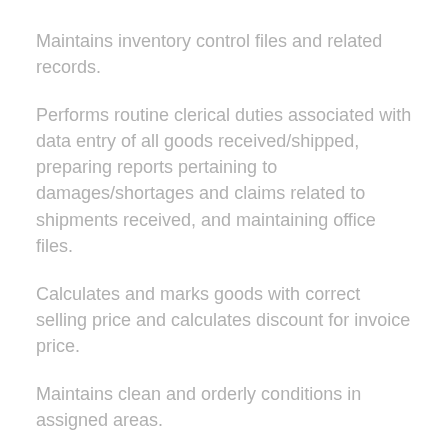Maintains inventory control files and related records.
Performs routine clerical duties associated with data entry of all goods received/shipped, preparing reports pertaining to damages/shortages and claims related to shipments received, and maintaining office files.
Calculates and marks goods with correct selling price and calculates discount for invoice price.
Maintains clean and orderly conditions in assigned areas.
Interfaces with faculty, staff, students, and outside agencies and insurance companies.
Assists customers with packing, sealing, and shipping of